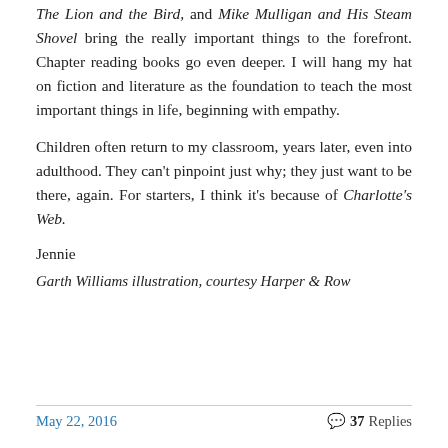The Lion and the Bird, and Mike Mulligan and His Steam Shovel bring the really important things to the forefront. Chapter reading books go even deeper. I will hang my hat on fiction and literature as the foundation to teach the most important things in life, beginning with empathy.
Children often return to my classroom, years later, even into adulthood. They can't pinpoint just why; they just want to be there, again. For starters, I think it's because of Charlotte's Web.
Jennie
Garth Williams illustration, courtesy Harper & Row
May 22, 2016   37 Replies